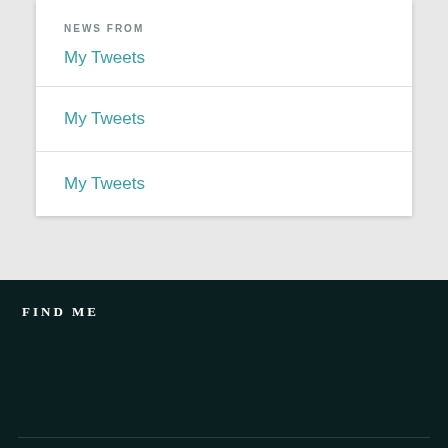NEWS FROM
My Tweets
My Tweets
My Tweets
FIND ME